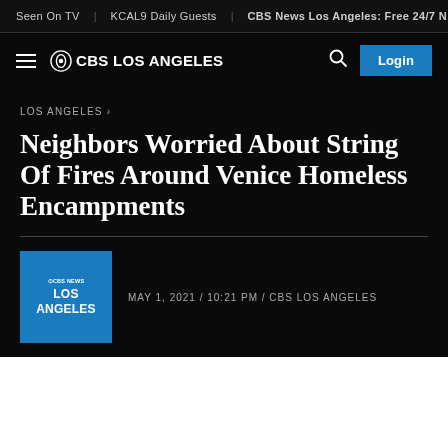Seen On TV | KCAL9 Daily Guests | CBS News Los Angeles: Free 24/7 N
☰ ⊙CBS LOS ANGELES
LOS ANGELES ›
Neighbors Worried About String Of Fires Around Venice Homeless Encampments
MAY 1, 2021 / 10:21 PM / CBS LOS ANGELES